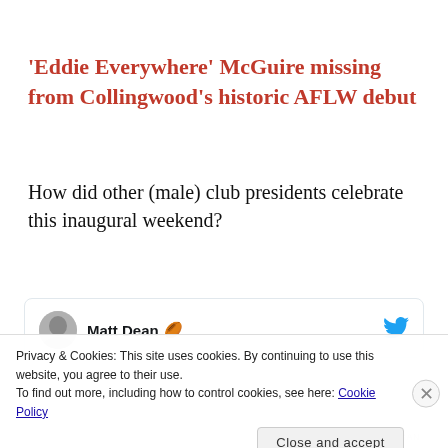‘Eddie Everywhere’ McGuire missing from Collingwood’s historic AFLW debut
How did other (male) club presidents celebrate this inaugural weekend?
[Figure (screenshot): Tweet card showing Matt Dean with rugby ball emoji and Twitter bird icon]
Privacy & Cookies: This site uses cookies. By continuing to use this website, you agree to their use.
To find out more, including how to control cookies, see here: Cookie Policy
Close and accept